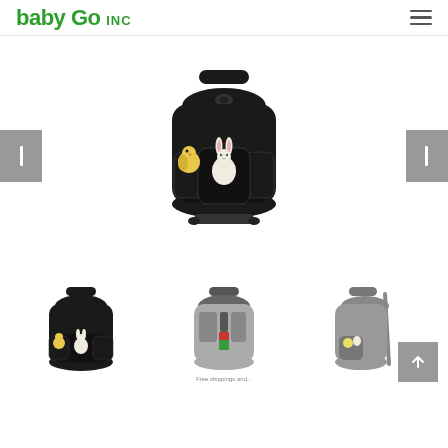baby Go INC
[Figure (photo): Main product photo: black diaper backpack open at front pockets with stuffed animal toys (yellow chick and white bunny) visible in pockets, shown from front]
[Figure (photo): Thumbnail 1: black diaper backpack front view with toys in pockets]
[Figure (photo): Thumbnail 2: black diaper backpack open showing interior compartments and accessories]
Free shippings and...
[Figure (photo): Thumbnail 3: black diaper backpack side/back view showing single shoulder strap configuration]